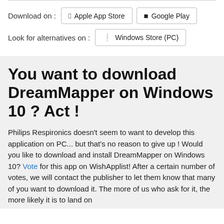Download on : [Apple App Store] [Google Play]
Look for alternatives on : [Windows Store (PC)]
You want to download DreamMapper on Windows 10 ? Act !
Philips Respironics doesn't seem to want to develop this application on PC... but that's no reason to give up ! Would you like to download and install DreamMapper on Windows 10? Vote for this app on WishApplist! After a certain number of votes, we will contact the publisher to let them know that many of you want to download it. The more of us who ask for it, the more likely it is to land on